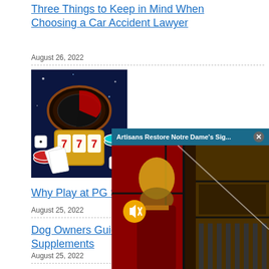Three Things to Keep in Mind When Choosing a Car Accident Lawyer
August 26, 2022
[Figure (photo): Casino-themed image with slot machine showing 777, roulette wheel, poker chips, dice and playing cards on a dark blue background]
Why Play at PG Soft C...
August 25, 2022
Dog Owners Guide F... Supplements
August 25, 2022
[Figure (screenshot): Popup overlay with header 'Artisans Restore Notre Dame's Sig...' and a close X button, showing a stained glass window image of a figure with red and gold tones, with a mute/unmute yellow circular button]